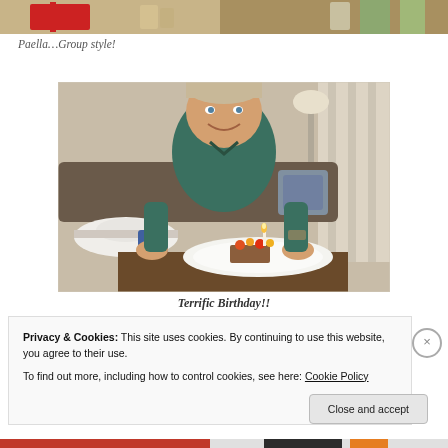[Figure (photo): Partial top of a photo showing people around a table, food and bottles visible]
Paella…Group style!
[Figure (photo): Man in green polo shirt sitting at a restaurant table smiling, with a small birthday cake with a candle in front of him on a white plate. A white hat and blue bag are visible to his left.]
Terrific Birthday!!
Privacy & Cookies: This site uses cookies. By continuing to use this website, you agree to their use. To find out more, including how to control cookies, see here: Cookie Policy
Close and accept